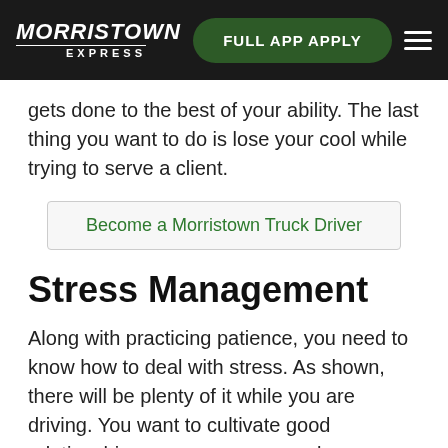MORRISTOWN EXPRESS | FULL APP APPLY
gets done to the best of your ability. The last thing you want to do is lose your cool while trying to serve a client.
Become a Morristown Truck Driver
Stress Management
Along with practicing patience, you need to know how to deal with stress. As shown, there will be plenty of it while you are driving. You want to cultivate good relationships among your co-workers, clients, and those you meet along the way.
are numerous ways you can reduce stress while on the road. Consider listening to relaxing music, meditating, eating